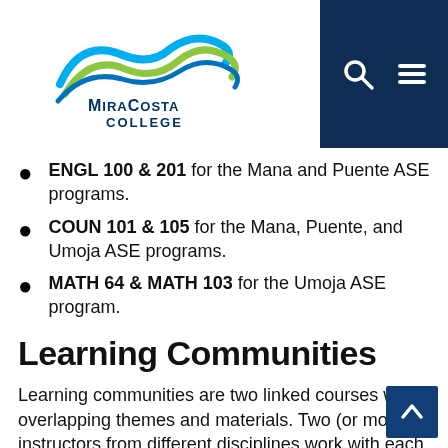[Figure (logo): MiraCosta College logo with search and menu icons on dark navy navigation bar]
ENGL 100 & 201 for the Mana and Puente ASE programs.
COUN 101 & 105 for the Mana, Puente, and Umoja ASE programs.
MATH 64 & MATH 103 for the Umoja ASE program.
Learning Communities
Learning communities are two linked courses with overlapping themes and materials. Two (or more) instructors from different disciplines work with each other to connect the courses. Students take both courses as a cohort together. This is a great opportunity to take two